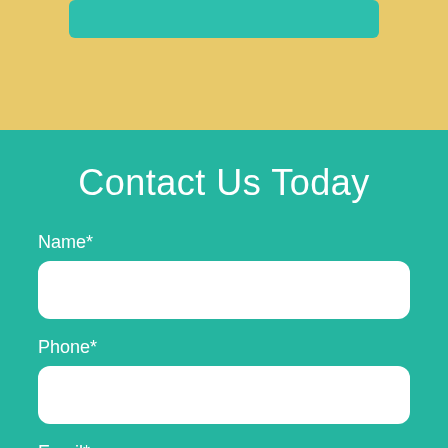Contact Us Today
Name*
Phone*
Email*